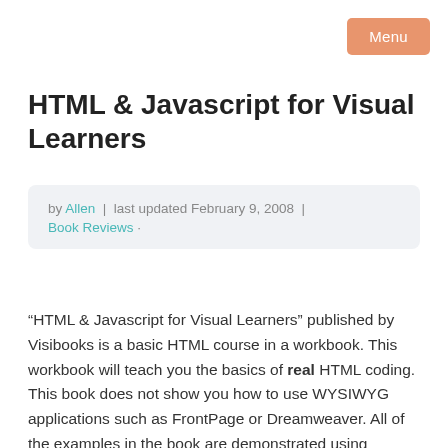Menu
HTML & Javascript for Visual Learners
by Allen | last updated February 9, 2008 | Book Reviews ·
“HTML & Javascript for Visual Learners” published by Visibooks is a basic HTML course in a workbook. This workbook will teach you the basics of real HTML coding. This book does not show you how to use WYSIWYG applications such as FrontPage or Dreamweaver. All of the examples in the book are demonstrated using Notepad. The language used in each section is clear, concise, and fully